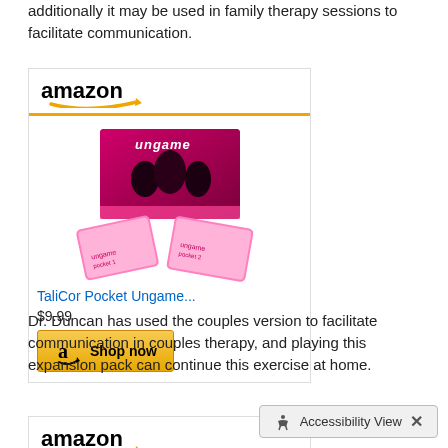additionally it may be used in family therapy sessions to facilitate communication.
[Figure (other): Amazon widget showing TaliCor Pocket Ungame product listing with price $9.99 and Shop now button]
Dr. Duncan has used the couples version to facilitate communication in couples therapy, and playing this expansion pack can continue this exercise at home.
[Figure (other): Amazon widget showing another product (partially visible at bottom)]
Accessibility View